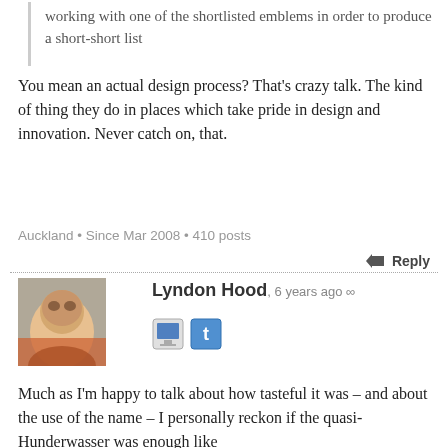working with one of the shortlisted emblems in order to produce a short-short list
You mean an actual design process? That's crazy talk. The kind of thing they do in places which take pride in design and innovation. Never catch on, that.
Auckland • Since Mar 2008 • 410 posts
Reply
Lyndon Hood, 6 years ago ∞
Much as I'm happy to talk about how tasteful it was – and about the use of the name – I personally reckon if the quasi-Hunderwasser was enough like the original to be a copyright breach then ever spiral and fern offer will be hearing from every IP lawyer everywhere.
Wellington • Since Nov 2006 • 1115 posts
Reply
Stephen R, in reply to Kumara Republic